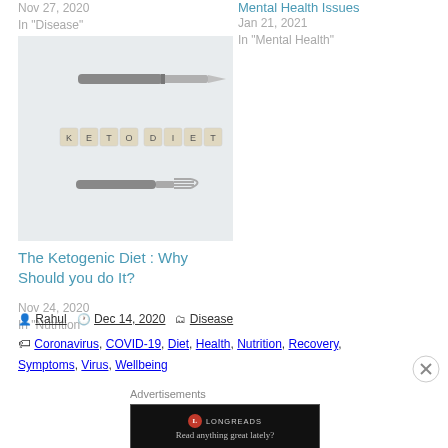Nov 27, 2020
In "Disease"
Mental Health Issues
Jan 21, 2021
In "Mental Health"
[Figure (photo): Photo of a knife and fork on a white background with wooden letter tiles spelling KETO DIET]
The Ketogenic Diet : Why Should you do It?
Nov 24, 2020
In "Nutrition"
Posted by Rahul  Dec 14, 2020  Disease
Tags: Coronavirus, COVID-19, Diet, Health, Nutrition, Recovery, Symptoms, Virus, Wellbeing
Advertisements
[Figure (screenshot): Longreads advertisement banner with text: Read anything great lately?]